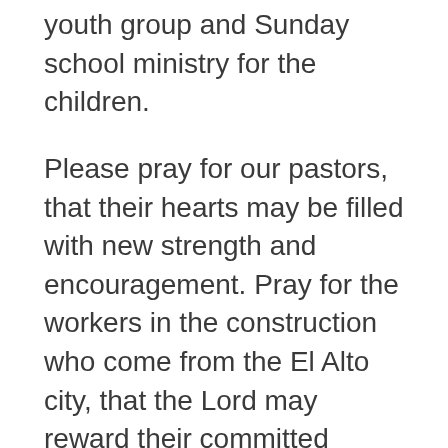youth group and Sunday school ministry for the children.
Please pray for our pastors, that their hearts may be filled with new strength and encouragement. Pray for the workers in the construction who come from the El Alto city, that the Lord may reward their committed hearts. Also, please pray for all those involved in this process, including yourselves, because the support we receive has been such a blessing and the wind beneath our wings. We are